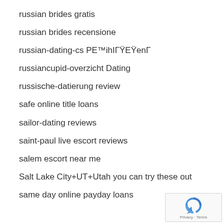russian brides gratis
russian brides recensione
russian-dating-cs РЕ™ihІГŸЕŸenГ
russiancupid-overzicht Dating
russische-datierung review
safe online title loans
sailor-dating reviews
saint-paul live escort reviews
salem escort near me
Salt Lake City+UT+Utah you can try these out
same day online payday loans